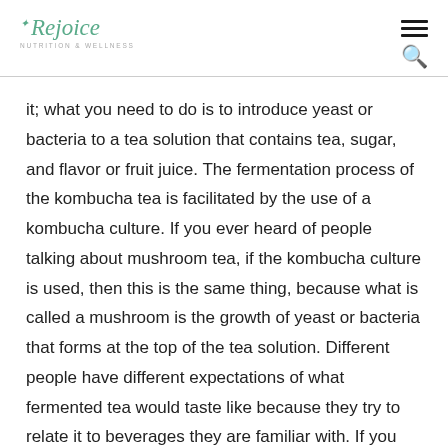Rejoice Nutrition & Wellness
it; what you need to do is to introduce yeast or bacteria to a tea solution that contains tea, sugar, and flavor or fruit juice. The fermentation process of the kombucha tea is facilitated by the use of a kombucha culture. If you ever heard of people talking about mushroom tea, if the kombucha culture is used, then this is the same thing, because what is called a mushroom is the growth of yeast or bacteria that forms at the top of the tea solution. Different people have different expectations of what fermented tea would taste like because they try to relate it to beverages they are familiar with. If you have ever tasted vinegar or even champagne, you can expect your kombucha to have a related taste, depending on the kind of tea that